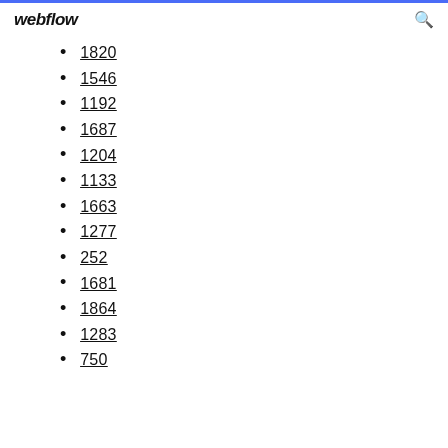webflow
1820
1546
1192
1687
1204
1133
1663
1277
252
1681
1864
1283
750